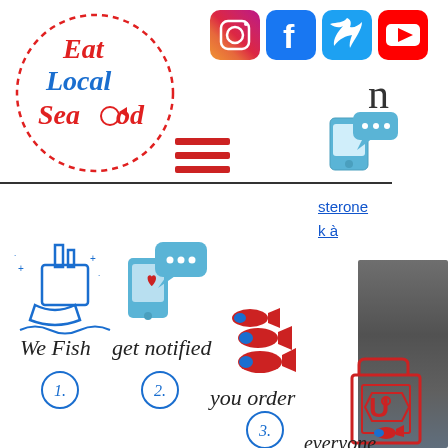[Figure (logo): Eat Local Seafood circular dotted logo with red cursive text]
[Figure (infographic): Social media icons: Instagram, Facebook, Twitter, YouTube]
n
[Figure (infographic): Phone/chat notification icon]
[Figure (infographic): Hamburger menu icon (red lines)]
[Figure (infographic): Three-step infographic: 1. We Fish (boat icon), 2. get notified (phone icon), 3. you order (fish and shopping bag icons), everyone]
sterone
k à